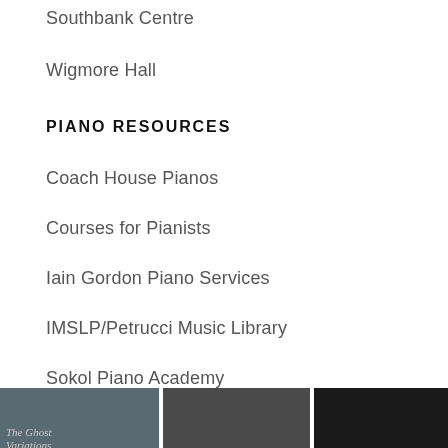Southbank Centre
Wigmore Hall
PIANO RESOURCES
Coach House Pianos
Courses for Pianists
Iain Gordon Piano Services
IMSLP/Petrucci Music Library
Sokol Piano Academy
INSTAGRAM
[Figure (photo): Three Instagram photo thumbnails showing: a book cover 'The Ghost Variations', a portrait photo, and a dark abstract image.]